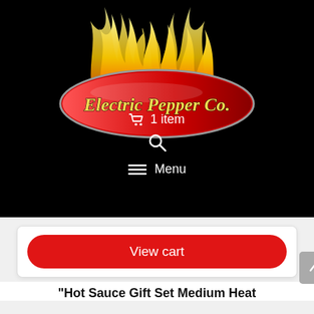[Figure (logo): Electric Pepper Co. logo with yellow flames above a red oval badge with yellow italic text reading 'Electric Pepper Co.' on a black background]
🛒 1 item
🔍
☰ Menu
View cart
"Hot Sauce Gift Set Medium Heat